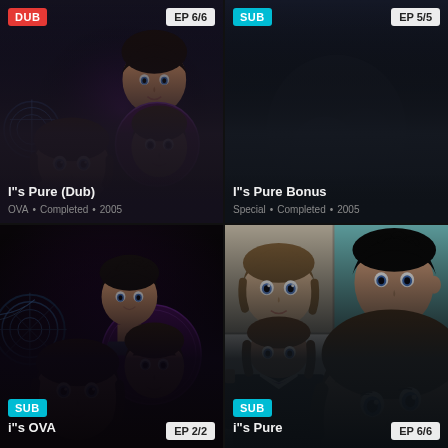[Figure (screenshot): Anime streaming card for I"s Pure (Dub), OVA, Completed, 2005, EP 6/6, DUB badge, dark background with anime characters]
[Figure (screenshot): Anime streaming card for I"s Pure Bonus, Special, Completed, 2005, EP 5/5, SUB badge, dark background]
[Figure (screenshot): Anime streaming card for i"s OVA, EP 2/2, SUB badge, dark background with three anime characters illustration]
[Figure (screenshot): Anime streaming card for i"s Pure, EP 6/6, SUB badge, collage of anime character faces]